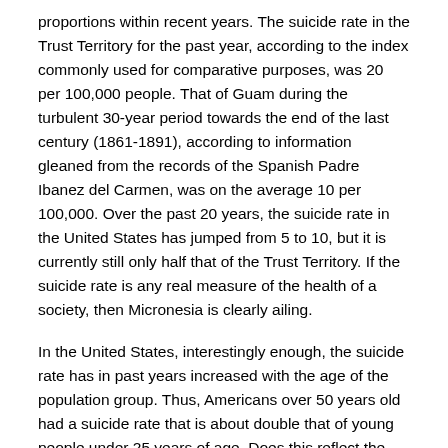proportions within recent years. The suicide rate in the Trust Territory for the past year, according to the index commonly used for comparative purposes, was 20 per 100,000 people. That of Guam during the turbulent 30-year period towards the end of the last century (1861-1891), according to information gleaned from the records of the Spanish Padre Ibanez del Carmen, was on the average 10 per 100,000. Over the past 20 years, the suicide rate in the United States has jumped from 5 to 10, but it is currently still only half that of the Trust Territory. If the suicide rate is any real measure of the health of a society, then Micronesia is clearly ailing.
In the United States, interestingly enough, the suicide rate has in past years increased with the age of the population group. Thus, Americans over 50 years old had a suicide rate that is about double that of young people under 25 years of age. Does this reflect the fact that until recently it has been the old, not the young, who have found themselves most alienated? It should be noted, however, that since 1960 the suicide rate among college-age Americans has increased to a high 10 per 100,000, and social scientists in the U.S. are sounding the alarm. Nevertheless, the